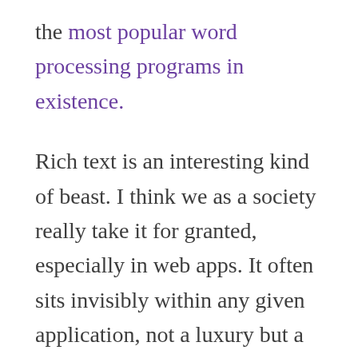the most popular word processing programs in existence.
Rich text is an interesting kind of beast. I think we as a society really take it for granted, especially in web apps. It often sits invisibly within any given application, not a luxury but a fundamental necessity, table stakes for any note taking app. The expectation being the clickity-clacks your keyboard makes when pressing Ctrl and B will invariably result in the selected text looking thicker, louder, more emboldened.